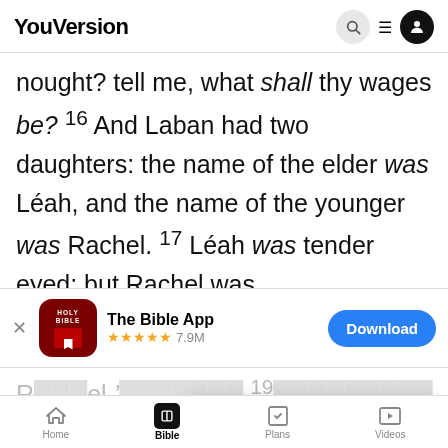YouVersion
nought? tell me, what shall thy wages be? 16 And Laban had two daughters: the name of the elder was Le´ah, and the name of the younger was Rachel. 17 Le´ah was tender eyed; but Rachel was
[Figure (screenshot): App store banner for The Bible App with red icon, 5 stars, 7.9M ratings, and Download button]
Rachel is better ... 19 ...
YouVersion uses cookies to personalize your experience. By using our website, you accept our use of cookies as described in our Privacy Policy.
give her to another man: abide with me 20 And
Home | Bible | Plans | Videos